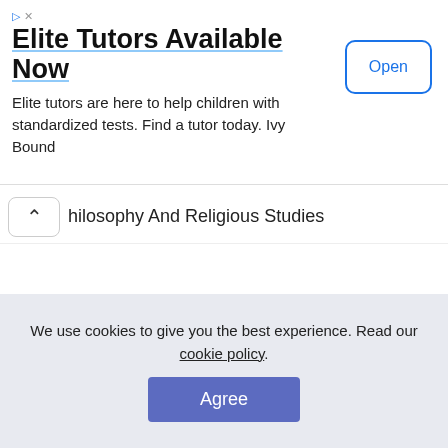[Figure (screenshot): Advertisement banner: Elite Tutors Available Now with Open button]
hilosophy And Religious Studies
Graduate Student Population
Total 2,037 students enrolled in Thomas More University including both undergraduate and graduate programs, with full-
We use cookies to give you the best experience. Read our cookie policy.